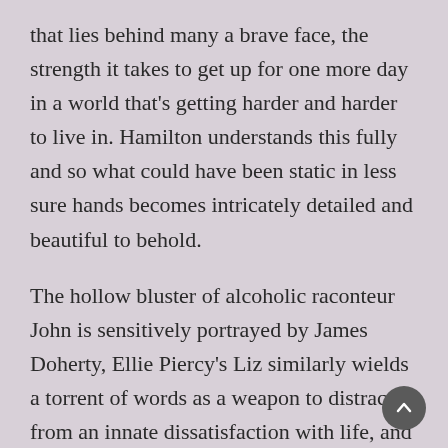that lies behind many a brave face, the strength it takes to get up for one more day in a world that's getting harder and harder to live in. Hamilton understands this fully and so what could have been static in less sure hands becomes intricately detailed and beautiful to behold.
The hollow bluster of alcoholic raconteur John is sensitively portrayed by James Doherty, Ellie Piercy's Liz similarly wields a torrent of words as a weapon to distract from an innate dissatisfaction with life, and Hasan Dixon charts Mark's emotional growth beautifully as one year later we rejoin the trio on the day of a wedding, and see how much – or how little – has changed. James Perkins' design